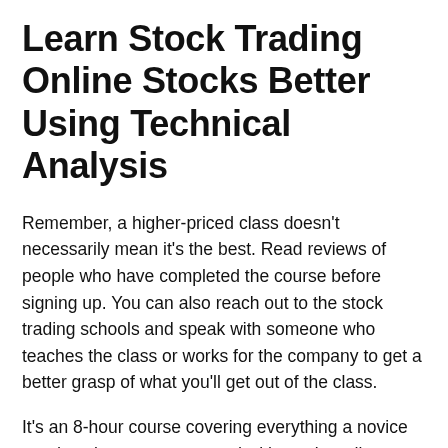Learn Stock Trading Online Stocks Better Using Technical Analysis
Remember, a higher-priced class doesn't necessarily mean it's the best. Read reviews of people who have completed the course before signing up. You can also reach out to the stock trading schools and speak with someone who teaches the class or works for the company to get a better grasp of what you'll get out of the class.
It's an 8-hour course covering everything a novice needs to know to get started with stock trading. Although it starts out with the basics, it quickly elevates the learning to more advanced topics, including the application of trading tools and actionable trading setups. Stock Market From Scratch for Complete Beginners features asynchronous learning that